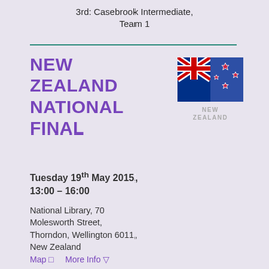3rd: Casebrook Intermediate, Team 1
NEW ZEALAND NATIONAL FINAL
[Figure (illustration): New Zealand national flag with Union Jack in top-left corner and four red stars on blue background, with label 'NEW ZEALAND' below]
Tuesday 19th May 2015, 13:00 – 16:00
National Library, 70 Molesworth Street, Thorndon, Wellington 6011, New Zealand
Map ⊡    More Info ▽
Results ▽
Contact: Wayne Mills: penway@ihug.co.nz